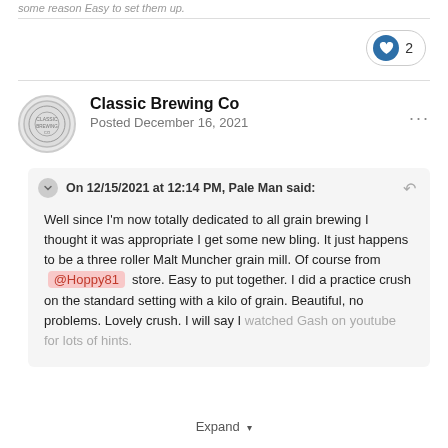some reason Easy to set them up.
[Figure (other): Like button with heart icon showing count of 2]
Classic Brewing Co
Posted December 16, 2021
On 12/15/2021 at 12:14 PM, Pale Man said:
Well since I'm now totally dedicated to all grain brewing I thought it was appropriate I get some new bling. It just happens to be a three roller Malt Muncher grain mill. Of course from @Hoppy81 store. Easy to put together. I did a practice crush on the standard setting with a kilo of grain. Beautiful, no problems. Lovely crush. I will say I watched Gash on youtube for lots of hints.
Expand ▾